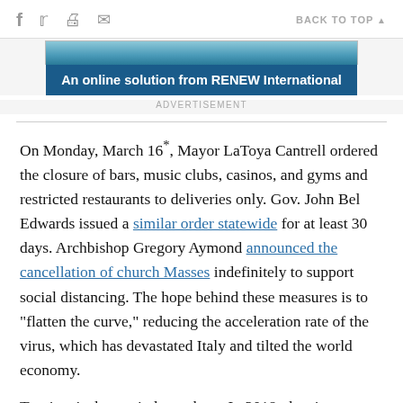f  𝕏  🖶  ✉  BACK TO TOP ▲
[Figure (screenshot): Advertisement banner: image bar on top in blue/teal gradient, followed by dark blue banner reading 'An online solution from RENEW International']
ADVERTISEMENT
On Monday, March 16*, Mayor LaToya Cantrell ordered the closure of bars, music clubs, casinos, and gyms and restricted restaurants to deliveries only. Gov. John Bel Edwards issued a similar order statewide for at least 30 days. Archbishop Gregory Aymond announced the cancellation of church Masses indefinitely to support social distancing. The hope behind these measures is to "flatten the curve," reducing the acceleration rate of the virus, which has devastated Italy and tilted the world economy.
Tourism is the top industry here. In 2018, the city enjoyed a $9.1 billion impact from 18.5 million